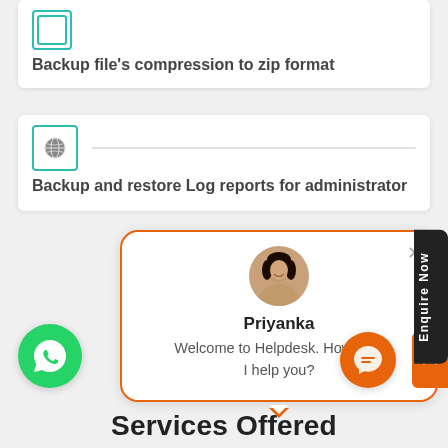[Figure (screenshot): Card with teal-bordered icon and bold text 'Backup file’s compression to zip format']
[Figure (screenshot): Card with globe icon in teal border and bold text 'Backup and restore Log reports for administrator']
[Figure (screenshot): Chat popup with orange border, avatar photo of Priyanka, name 'Priyanka', and message 'Welcome to Helpdesk. How may I help you?']
[Figure (infographic): 'Enquire Now' vertical tab button on right side]
[Figure (infographic): WhatsApp green circle button bottom left, orange chat circle button bottom right, orange back-to-top button]
Services Offered